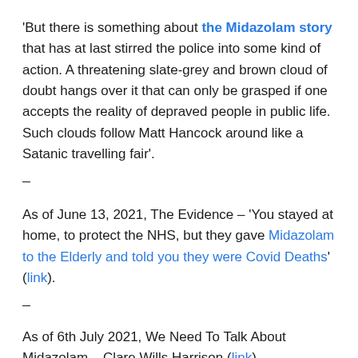'But there is something about the Midazolam story that has at last stirred the police into some kind of action. A threatening slate-grey and brown cloud of doubt hangs over it that can only be grasped if one accepts the reality of depraved people in public life. Such clouds follow Matt Hancock around like a Satanic travelling fair'.
–
As of June 13, 2021, The Evidence – 'You stayed at home, to protect the NHS, but they gave Midazolam to the Elderly and told you they were Covid Deaths' (link).
–
As of 6th July 2021, We Need To Talk About Midazolam – Clare Wills Harrison (link).